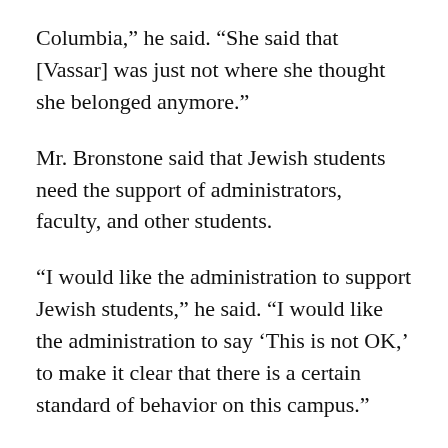Columbia,” he said. “She said that [Vassar] was just not where she thought she belonged anymore.”
Mr. Bronstone said that Jewish students need the support of administrators, faculty, and other students.
“I would like the administration to support Jewish students,” he said. “I would like the administration to say ‘This is not OK,’ to make it clear that there is a certain standard of behavior on this campus.”
Ms. Hill said that Vassar administrators are responsive to the needs of Jewish students.